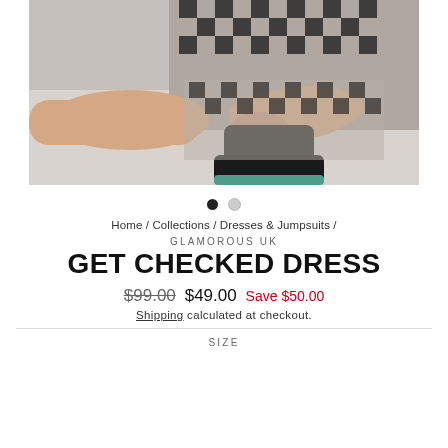[Figure (photo): Woman sitting on a light gray floor wearing a black and white checked/plaid dress, reaching down toward black boots with a teal/green sole.]
● ○
Home / Collections / Dresses & Jumpsuits /
GLAMOROUS UK
GET CHECKED DRESS
$99.00  $49.00  Save $50.00
Shipping calculated at checkout.
SIZE